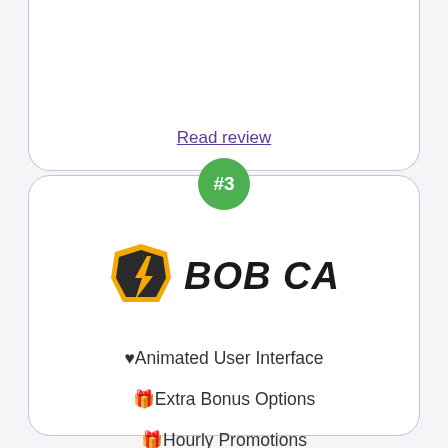Read review
[Figure (logo): Bob Casino logo with lightning bolt shield icon and bold italic text 'BOB CASINO' in orange/gold and black]
♥Animated User Interface
🎁Extra Bonus Options
🎁Hourly Promotions